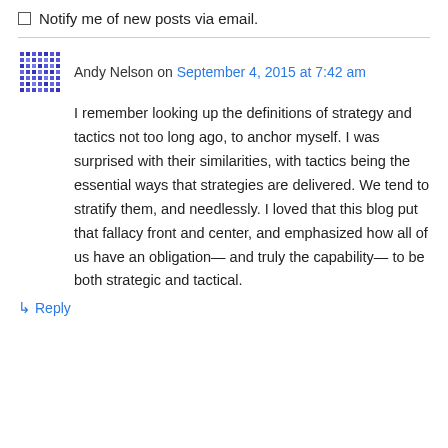Notify me of new posts via email.
Andy Nelson on September 4, 2015 at 7:42 am
I remember looking up the definitions of strategy and tactics not too long ago, to anchor myself. I was surprised with their similarities, with tactics being the essential ways that strategies are delivered. We tend to stratify them, and needlessly. I loved that this blog put that fallacy front and center, and emphasized how all of us have an obligation— and truly the capability— to be both strategic and tactical.
↳ Reply